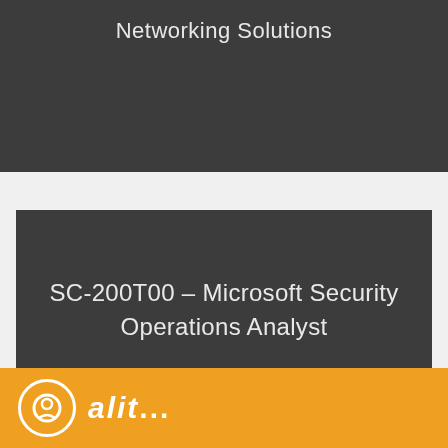Networking Solutions
SC-200T00 – Microsoft Security Operations Analyst
[Figure (logo): Company logo with circular icon and stylized text on an orange background strip at the bottom of the page]